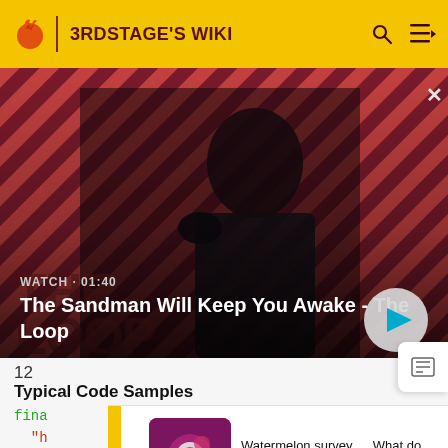3RDSTAGE'S WIKI
[Figure (photo): Hero image of a dark-clad figure (The Sandman) standing against a red and black diagonal striped background with a raven on shoulder. Text overlay: WATCH · 01:40 / The Sandman Will Keep You Awake - The Loop]
WATCH · 01:40
The Sandman Will Keep You Awake - The Loop
12
Typical Code Samples
fina
"h
"C
"T
[Figure (screenshot): Survey advertisement banner: purple/magenta icon image with magnifying glass, text: Watermelon survey … What do you think about Harry Styles? TAKE THE SURVEY HERE]